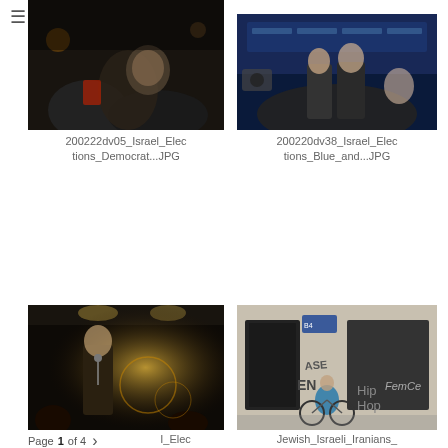DAVID VAAKNIN
[Figure (photo): Dark crowd scene, protest or election event, people in a dimly lit indoor setting]
200222dv05_Israel_Elections_Democrat...JPG
[Figure (photo): Politicians at a blue-lit election night event, man in suit surrounded by crowd]
200220dv38_Israel_Elections_Blue_and...JPG
[Figure (photo): Speaker at a podium with dramatic warm light, audience in foreground]
I_Elec .JPG
[Figure (photo): Street scene with graffiti Hip Hop and FemCe on wall, person with bicycle in blue jacket]
Jewish_Israeli_Iranians_Nuclear_Talk...JPG
Page 1 of 4